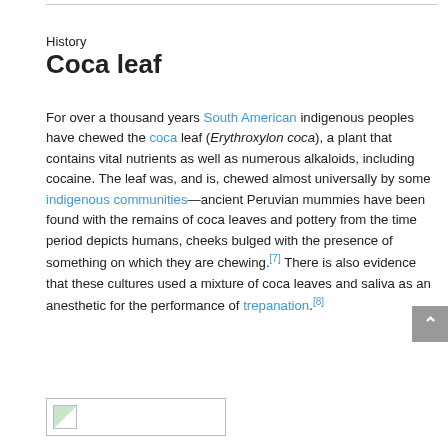History
Coca leaf
For over a thousand years South American indigenous peoples have chewed the coca leaf (Erythroxylon coca), a plant that contains vital nutrients as well as numerous alkaloids, including cocaine. The leaf was, and is, chewed almost universally by some indigenous communities—ancient Peruvian mummies have been found with the remains of coca leaves and pottery from the time period depicts humans, cheeks bulged with the presence of something on which they are chewing.[7] There is also evidence that these cultures used a mixture of coca leaves and saliva as an anesthetic for the performance of trepanation.[8]
[Figure (photo): Small image thumbnail placeholder at bottom left]